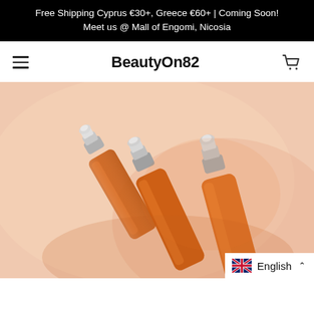Free Shipping Cyprus €30+, Greece €60+ | Coming Soon!
Meet us @ Mall of Engomi, Nicosia
BeautyOn82
[Figure (photo): Three amber glass dropper bottles of serum/oil on a soft peach/salmon background, shot from above at an angle. The bottles have silver metallic dropper caps.]
English